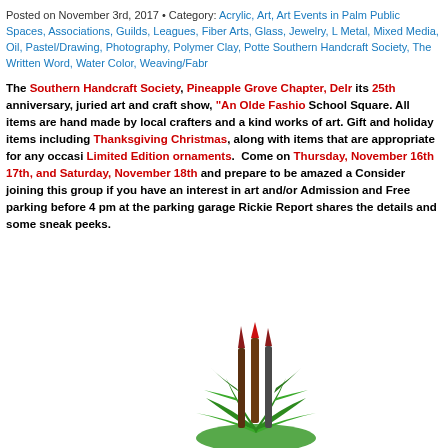Posted on November 3rd, 2017 • Category: Acrylic, Art, Art Events in Palm Public Spaces, Associations, Guilds, Leagues, Fiber Arts, Glass, Jewelry, L Metal, Mixed Media, Oil, Pastel/Drawing, Photography, Polymer Clay, Potte Southern Handcraft Society, The Written Word, Water Color, Weaving/Fabr
The Southern Handcraft Society, Pineapple Grove Chapter, Delr its 25th anniversary, juried art and craft show, "An Olde Fashio School Square. All items are hand made by local crafters and a kind works of art. Gift and holiday items including Thanksgiving Christmas, along with items that are appropriate for any occasi Limited Edition ornaments. Come on Thursday, November 16th 17th, and Saturday, November 18th and prepare to be amazed a Consider joining this group if you have an interest in art and/or Admission and Free parking before 4 pm at the parking garage Rickie Report shares the details and some sneak peeks.
[Figure (illustration): Decorative illustration of paintbrushes and art supplies arranged like a tropical plant with green leaves at the base]